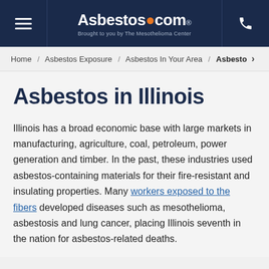Asbestos.com · Brought to you by The Mesothelioma Center
Home / Asbestos Exposure / Asbestos In Your Area / Asbesto >
Asbestos in Illinois
Illinois has a broad economic base with large markets in manufacturing, agriculture, coal, petroleum, power generation and timber. In the past, these industries used asbestos-containing materials for their fire-resistant and insulating properties. Many workers exposed to the fibers developed diseases such as mesothelioma, asbestosis and lung cancer, placing Illinois seventh in the nation for asbestos-related deaths.